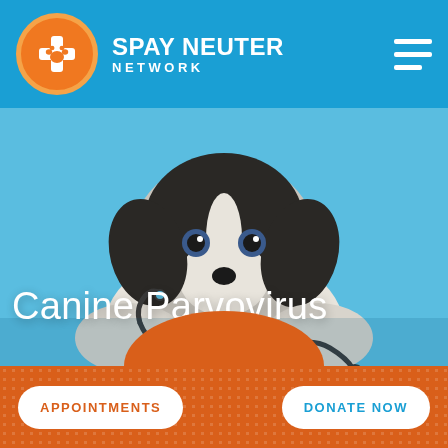SPAY NEUTER NETWORK
[Figure (photo): Black and white border collie puppy lying on a blue background with a stethoscope in front of it, looking at the camera]
Canine Parvovirus
APPOINTMENTS
DONATE NOW